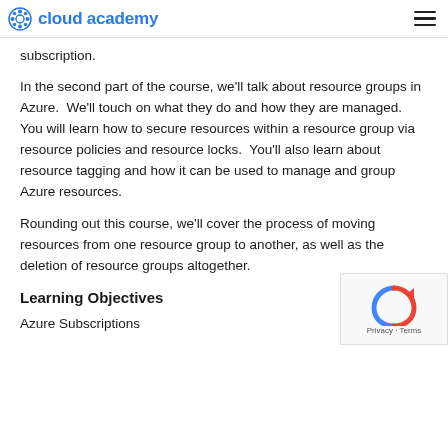cloud academy
subscription.
In the second part of the course, we'll talk about resource groups in Azure.  We'll touch on what they do and how they are managed. You will learn how to secure resources within a resource group via resource policies and resource locks.  You'll also learn about resource tagging and how it can be used to manage and group Azure resources.
Rounding out this course, we'll cover the process of moving resources from one resource group to another, as well as the deletion of resource groups altogether.
Learning Objectives
Azure Subscriptions